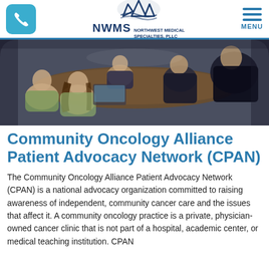NWMS Northwest Medical Specialties, PLLC
[Figure (photo): People seated around a conference table in a meeting room, viewed from above at an angle]
Community Oncology Alliance Patient Advocacy Network (CPAN)
The Community Oncology Alliance Patient Advocacy Network (CPAN) is a national advocacy organization committed to raising awareness of independent, community cancer care and the issues that affect it. A community oncology practice is a private, physician-owned cancer clinic that is not part of a hospital, academic center, or medical teaching institution. CPAN